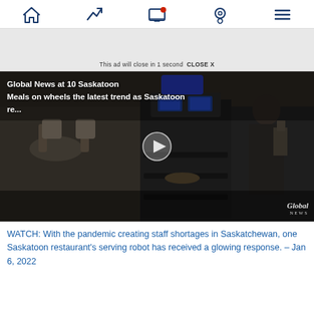Navigation bar with home, trending, notifications, location, menu icons
[Figure (screenshot): Ad banner area with 'This ad will close in 1 second  CLOSE X' text]
[Figure (screenshot): Video thumbnail showing Global News at 10 Saskatoon — Meals on wheels the latest trend as Saskatoon re... with a restaurant robot scene and play button overlay]
WATCH: With the pandemic creating staff shortages in Saskatchewan, one Saskatoon restaurant's serving robot has received a glowing response. – Jan 6, 2022